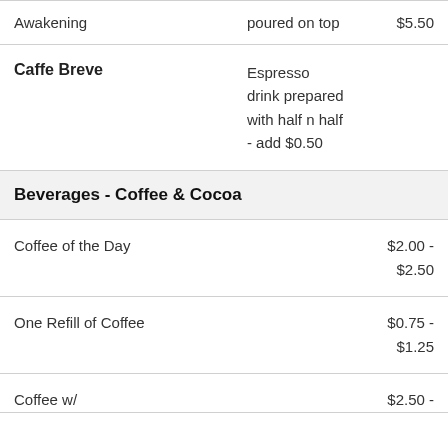| Item | Description | Price |
| --- | --- | --- |
| Awakening | poured on top | $5.50 |
| Caffe Breve | Espresso drink prepared with half n half - add $0.50 |  |
| Beverages - Coffee & Cocoa |  |  |
| Coffee of the Day |  | $2.00 - $2.50 |
| One Refill of Coffee |  | $0.75 - $1.25 |
| Coffee w/ |  | $2.50 - |